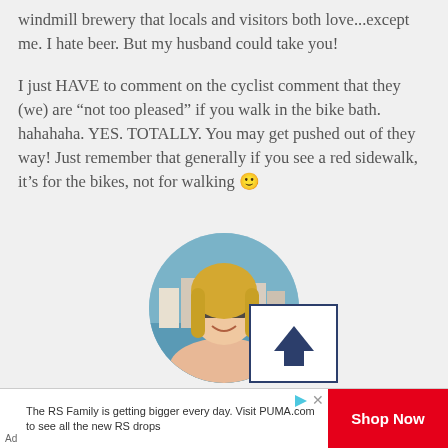windmill brewery that locals and visitors both love...except me. I hate beer. But my husband could take you!
I just HAVE to comment on the cyclist comment that they (we) are “not too pleased” if you walk in the bike bath. hahahaha. YES. TOTALLY. You may get pushed out of they way! Just remember that generally if you see a red sidewalk, it’s for the bikes, not for walking 🙂
[Figure (photo): Circular profile photo of a blonde woman wearing sunglasses, with a waterfront scene in the background. Overlapping image placeholder icon with a house/arrow symbol.]
Ad The RS Family is getting bigger every day. Visit PUMA.com to see all the new RS drops